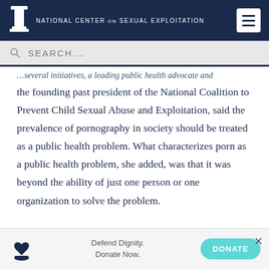NATIONAL CENTER ON SEXUAL EXPLOITATION
SEARCH...
the founding past president of the National Coalition to Prevent Child Sexual Abuse and Exploitation, said the prevalence of pornography in society should be treated as a public health problem. What characterizes porn as a public health problem, she added, was that it was beyond the ability of just one person or one organization to solve the problem.
Defend Dignity. Donate Now.